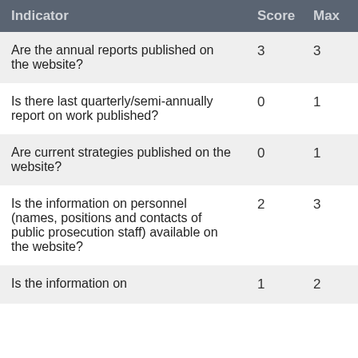| Indicator | Score | Max |
| --- | --- | --- |
| Are the annual reports published on the website? | 3 | 3 |
| Is there last quarterly/semi-annually report on work published? | 0 | 1 |
| Are current strategies published on the website? | 0 | 1 |
| Is the information on personnel (names, positions and contacts of public prosecution staff) available on the website? | 2 | 3 |
| Is the information on | 1 | 2 |